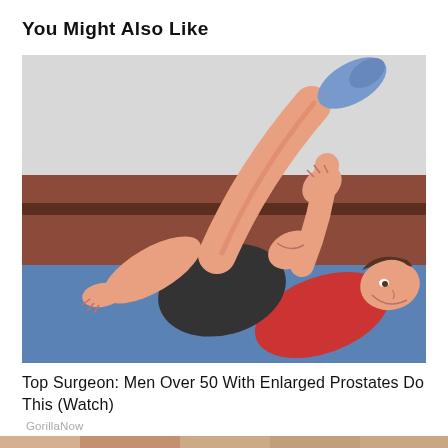You Might Also Like
[Figure (illustration): A cartoon/illustration of a person lying on their back on a blue exercise mat, wearing a red shirt and dark shorts, performing a stretch with one leg raised high, arm extended, set against a brown and grey wall background.]
Top Surgeon: Men Over 50 With Enlarged Prostates Do This (Watch)
GorillaNow
[Figure (photo): Partial bottom strip showing the top edge of another image/article thumbnail.]